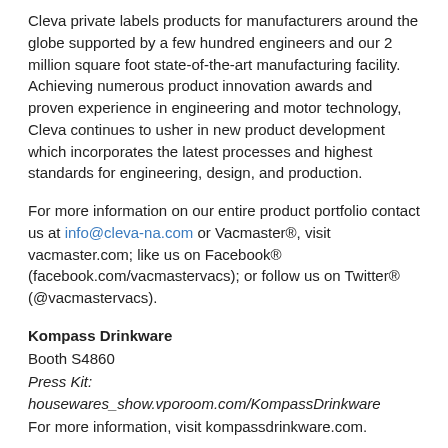Cleva private labels products for manufacturers around the globe supported by a few hundred engineers and our 2 million square foot state-of-the-art manufacturing facility. Achieving numerous product innovation awards and proven experience in engineering and motor technology, Cleva continues to usher in new product development which incorporates the latest processes and highest standards for engineering, design, and production.
For more information on our entire product portfolio contact us at info@cleva-na.com or Vacmaster®, visit vacmaster.com; like us on Facebook® (facebook.com/vacmastervacs); or follow us on Twitter® (@vacmastervacs).
Kompass Drinkware
Booth S4860
Press Kit:
housewares_show.vporoom.com/KompassDrinkware
For more information, visit kompassdrinkware.com.
Madesmart
Booth N7117